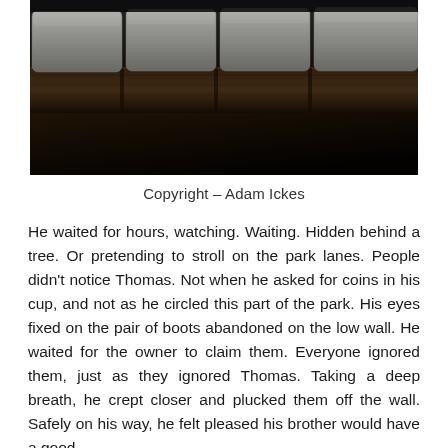[Figure (photo): Close-up photograph of stone or concrete coping blocks placed on top of a dark wooden fence or wall. The image is dark with the stone blocks visible at the top in lighter grey tones, and the wooden structure below in dark brown tones.]
Copyright – Adam Ickes
He waited for hours, watching. Waiting. Hidden behind a tree. Or pretending to stroll on the park lanes. People didn't notice Thomas. Not when he asked for coins in his cup, and not as he circled this part of the park. His eyes fixed on the pair of boots abandoned on the low wall. He waited for the owner to claim them. Everyone ignored them, just as they ignored Thomas. Taking a deep breath, he crept closer and plucked them off the wall. Safely on his way, he felt pleased his brother would have a good